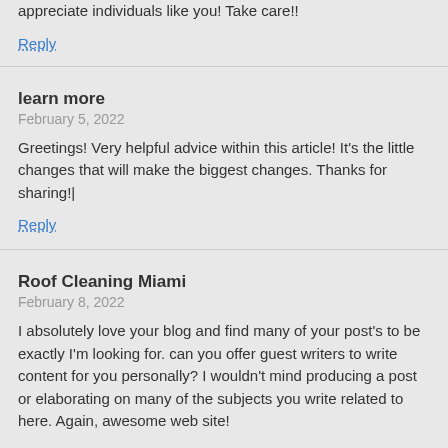appreciate individuals like you! Take care!!
Reply
learn more
February 5, 2022
Greetings! Very helpful advice within this article! It's the little changes that will make the biggest changes. Thanks for sharing!|
Reply
Roof Cleaning Miami
February 8, 2022
I absolutely love your blog and find many of your post's to be exactly I'm looking for. can you offer guest writers to write content for you personally? I wouldn't mind producing a post or elaborating on many of the subjects you write related to here. Again, awesome web site!
Reply